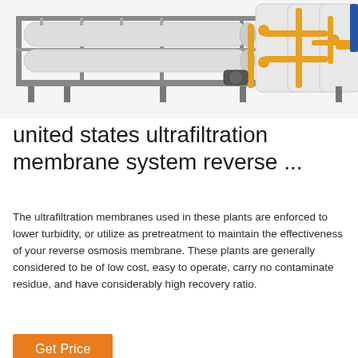[Figure (photo): Industrial ultrafiltration membrane system skid with yellow piping, large white cylindrical membrane modules arranged horizontally, mounted on a grey steel frame structure.]
united states ultrafiltration membrane system reverse ...
The ultrafiltration membranes used in these plants are enforced to lower turbidity, or utilize as pretreatment to maintain the effectiveness of your reverse osmosis membrane. These plants are generally considered to be of low cost, easy to operate, carry no contaminate residue, and have considerably high recovery ratio.
Get Price